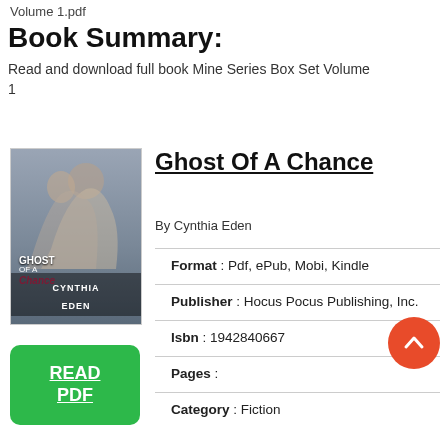Volume 1.pdf
Book Summary:
Read and download full book Mine Series Box Set Volume 1
Ghost Of A Chance
By Cynthia Eden
[Figure (illustration): Book cover for Ghost Of A Chance by Cynthia Eden showing two people in an embrace, with the title and author name overlaid. Green READ PDF button below.]
Format : Pdf, ePub, Mobi, Kindle
Publisher : Hocus Pocus Publishing, Inc.
Isbn : 1942840667
Pages :
Category : Fiction